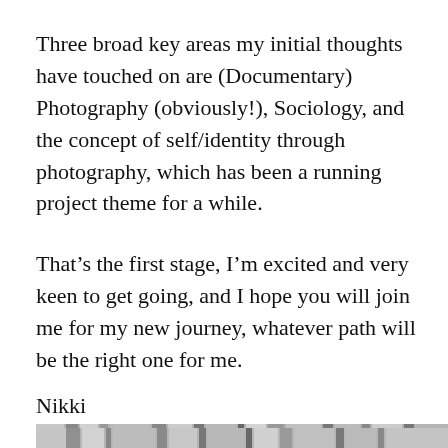Three broad key areas my initial thoughts have touched on are (Documentary) Photography (obviously!), Sociology, and the concept of self/identity through photography, which has been a running project theme for a while.
That's the first stage, I'm excited and very keen to get going, and I hope you will join me for my new journey, whatever path will be the right one for me.
Nikki
[Figure (photo): Black and white photograph of stacked books showing their spines. Top row shows blurry books. Second row: 'Why Art Photography? LUCY SOUTTER' on a white spine. Third row: 'IDENTITY' in large letters on dark spine with 'LAW' partially visible on right. Bottom row: 'Postmodernism and Social Research' in monospace font on dark spine with 'ALVE' partially visible on right.]